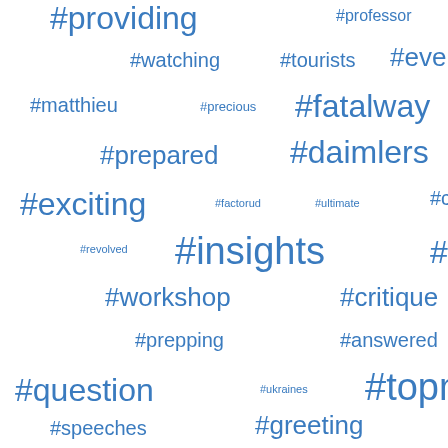[Figure (infographic): Word cloud / tag cloud of Twitter hashtags in varying font sizes, all in blue color on white background. Larger tags appear more frequently. Tags include: #providing, #professor, #attention, #artsatmit, #watching, #tourists, #everyone, #matthieu, #precious, #fatalway, #canadian, #prepared, #daimlers, #bernhard, #exciting, #factorud, #ultimate, #congrats, #creative, #revolved, #insights, #planning, #uuucuuau, #workshop, #critique, #budlight, #prepping, #answered, #exchange, #question, #ukraines, #topmodel, #provided, #speeches, #greeting, #calming, #michael, #control, #toronto, #through, #already, #capture, #thought, #welcome, #cooking, #freedom, #entered, #moments, #putting, #changes, #salmons, #another, #uddudeb, #special, #porsche, #program, #nanyone, #similar, #sitting, #driving, #espasso, #casting, #parade, #jersey, #heroes, #mexico, #recipe, #todays, #ufuuuu, #moment, #repost, #pieces]